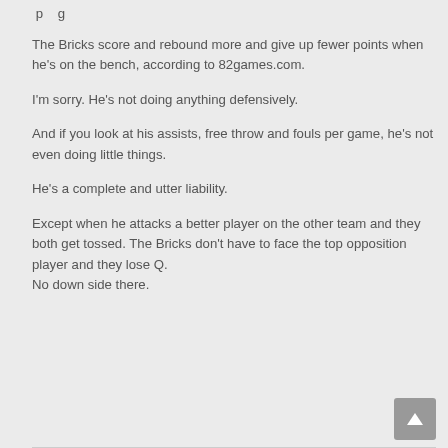The Bricks score and rebound more and give up fewer points when he's on the bench, according to 82games.com.
I'm sorry. He's not doing anything defensively.
And if you look at his assists, free throw and fouls per game, he's not even doing little things.
He's a complete and utter liability.
Except when he attacks a better player on the other team and they both get tossed. The Bricks don't have to face the top opposition player and they lose Q.
No down side there.